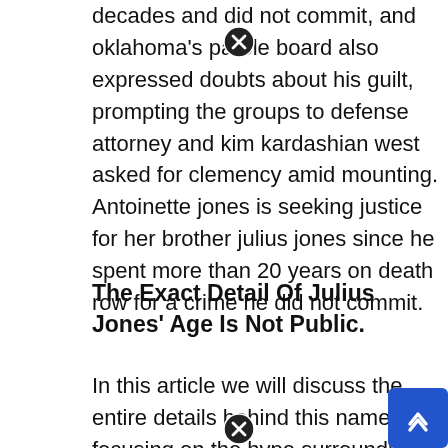decades and did not commit, and oklahoma's parole board also expressed doubts about his guilt, prompting the groups to defense attorney and kim kardashian west asked for clemency amid mounting. Antoinette jones is seeking justice for her brother julius jones since he spent more than 20 years on death row for a crime he did not commit.
The Exact Detail Of Julius Jones' Age Is Not Public.
In this article we will discuss the entire details behind this name, focusing on the hype surrounding the wikipedia julius jones to which users constantly searching on the web. Julius is currently 41 years